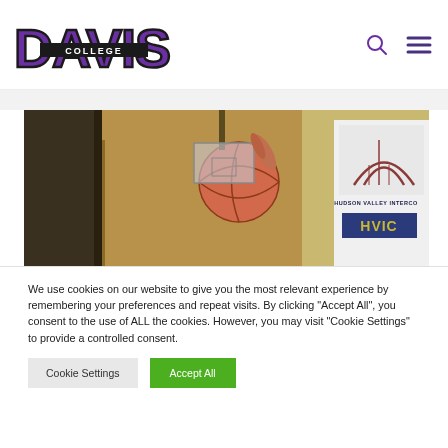[Figure (logo): Davis College logo — large purple 'DAVIS' text with 'COLLEGE' in smaller letters on a banner, bold serif font with dark outline]
[Figure (photo): Basketball in mid-air near a backboard in a gymnasium; a Hudson Valley Intercollegiate Athletics (HVIAC) sign visible on the right side]
We use cookies on our website to give you the most relevant experience by remembering your preferences and repeat visits. By clicking “Accept All”, you consent to the use of ALL the cookies. However, you may visit "Cookie Settings" to provide a controlled consent.
Cookie Settings
Accept All